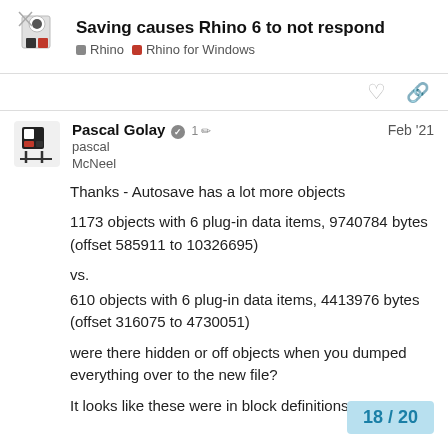Saving causes Rhino 6 to not respond | Rhino | Rhino for Windows
Pascal Golay [moderator] pascal McNeel — 1 edit — Feb '21
Thanks - Autosave has a lot more objects
1173 objects with 6 plug-in data items, 9740784 bytes (offset 585911 to 10326695)
vs.
610 objects with 6 plug-in data items, 4413976 bytes (offset 316075 to 4730051)
were there hidden or off objects when you dumped everything over to the new file?
It looks like these were in block definitions you created look correct when opened with
18 / 20